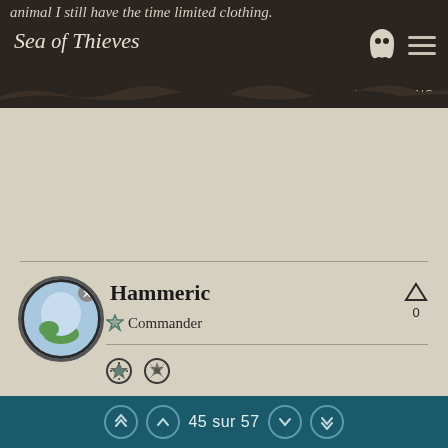Sea of Thieves — IL Y A 3 ANS
animal I still have the time limited clothing.
Hammeric
Commander
The Molten Sands Fortress - The volcano goes off for about 5-6 minutes, after its finished we go back to the fortress, almost immediately after the boiling water goes away an earthquake happens and roughly 4 out of 5 times a volcano will erupt causing us to leave the island and wait out the volcano. This will happen 3 to 4 times before we can get a span long enough to spawn the Duchess and kill her. basically the cycle goes
45 sur 57